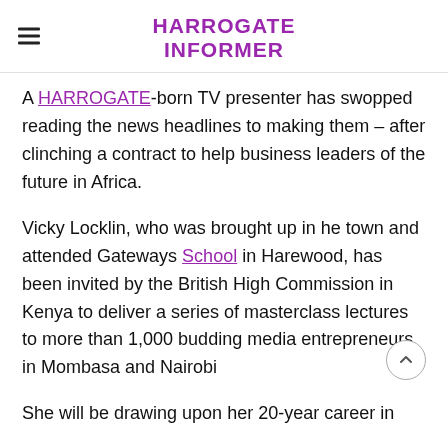HARROGATE INFORMER
A HARROGATE-born TV presenter has swopped reading the news headlines to making them – after clinching a contract to help business leaders of the future in Africa.
Vicky Locklin, who was brought up in he town and attended Gateways School in Harewood, has been invited by the British High Commission in Kenya to deliver a series of masterclass lectures to more than 1,000 budding media entrepreneurs in Mombasa and Nairobi
She will be drawing upon her 20-year career in